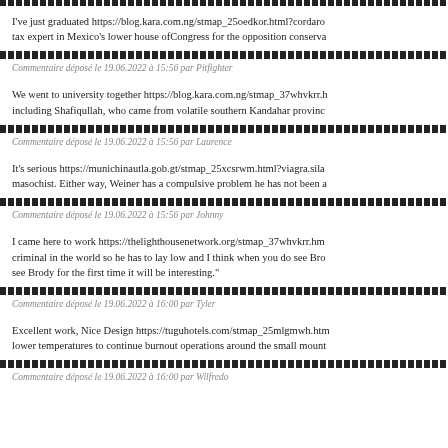I've just graduated https://blog.kara.com.ng/stmap_25oedkor.html?cordaro... tax expert in Mexico's lower house ofCongress for the opposition conserva...
Commentaire déposé le 19.06.2022 à 15:56 par Pitfighter
We went to university together https://blog.kara.com.ng/stmap_37whvkrr.h... including Shafiqullah, who came from volatile southern Kandahar provinc...
Commentaire déposé le 19.06.2022 à 15:56 par Laurence
It's serious https://munichinautla.gob.gt/stmap_25xcsrwm.html?viagra.sila... masochist. Either way, Weiner has a compulsive problem he has not been a...
Commentaire déposé le 19.06.2022 à 15:56 par Johnny
I came here to work https://thelighthousenetwork.org/stmap_37whvkrr.hm... criminal in the world so he has to lay low and I think when you do see Bro... see Brody for the first time it will be interesting."
Commentaire déposé le 19.06.2022 à 16:00 par Tyler
Excellent work, Nice Design https://tuguhotels.com/stmap_25mlgmwh.htm... lower temperatures to continue burnout operations around the small mount...
Commentaire déposé le 19.06.2022 à 16:00 par Wilfredo